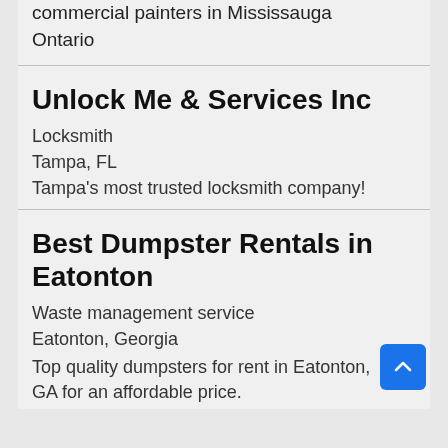commercial painters in Mississauga Ontario
Unlock Me & Services Inc
Locksmith
Tampa, FL
Tampa's most trusted locksmith company!
Best Dumpster Rentals in Eatonton
Waste management service
Eatonton, Georgia
Top quality dumpsters for rent in Eatonton, GA for an affordable price.